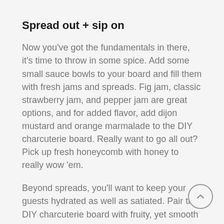Spread out + sip on
Now you've got the fundamentals in there, it's time to throw in some spice. Add some small sauce bowls to your board and fill them with fresh jams and spreads. Fig jam, classic strawberry jam, and pepper jam are great options, and for added flavor, add dijon mustard and orange marmalade to the DIY charcuterie board. Really want to go all out? Pick up fresh honeycomb with honey to really wow 'em.
Beyond spreads, you'll want to keep your guests hydrated as well as satiated. Pair the DIY charcuterie board with fruity, yet smooth wines that will wash everything down perfectly.